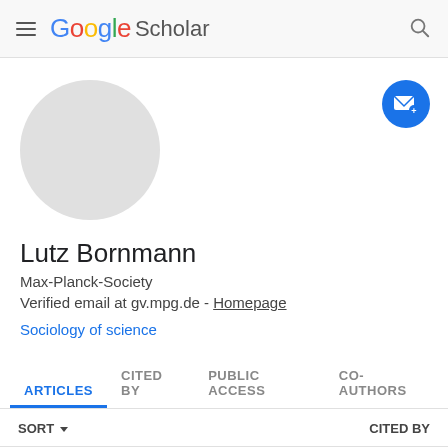Google Scholar
[Figure (photo): Default grey avatar profile photo circle]
[Figure (illustration): Blue circle follow/email button with envelope and plus icon]
Lutz Bornmann
Max-Planck-Society
Verified email at gv.mpg.de - Homepage
Sociology of science
ARTICLES   CITED BY   PUBLIC ACCESS   CO-AUTHORS
SORT   CITED BY
What do citation counts measure? A review of   1454